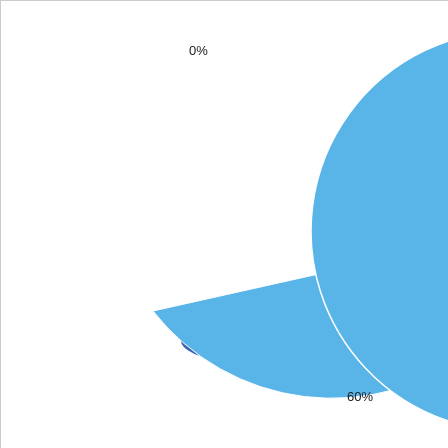[Figure (pie-chart): ]
Blue
CMYK Color combination for #1D002C
[Figure (infographic): Cyan color bar showing Cyan: 3.41%]